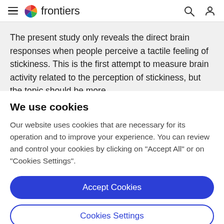frontiers
The present study only reveals the direct brain responses when people perceive a tactile feeling of stickiness. This is the first attempt to measure brain activity related to the perception of stickiness, but the topic should be more
We use cookies
Our website uses cookies that are necessary for its operation and to improve your experience. You can review and control your cookies by clicking on "Accept All" or on "Cookies Settings".
Accept Cookies
Cookies Settings